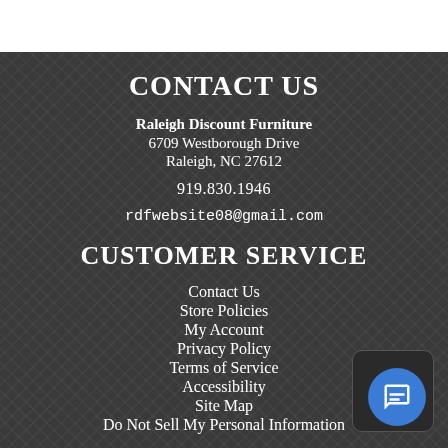CONTACT US
Raleigh Discount Furniture
6709 Westborough Drive
Raleigh, NC 27612
919.830.1946
rdfwebsite08@gmail.com
CUSTOMER SERVICE
Contact Us
Store Policies
My Account
Privacy Policy
Terms of Service
Accessibility
Site Map
Do Not Sell My Personal Information